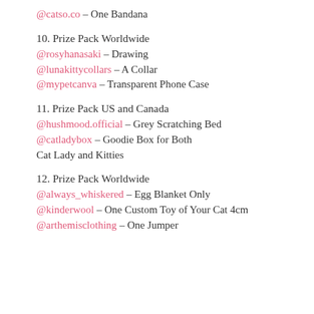@catso.co – One Bandana
10. Prize Pack Worldwide
@rosyhanasaki – Drawing
@lunakittycollars – A Collar
@mypetcanva – Transparent Phone Case
11. Prize Pack US and Canada
@hushmood.official – Grey Scratching Bed
@catladybox – Goodie Box for Both Cat Lady and Kitties
12. Prize Pack Worldwide
@always_whiskered – Egg Blanket Only
@kinderwool – One Custom Toy of Your Cat 4cm
@arthemisclothing – One Jumper